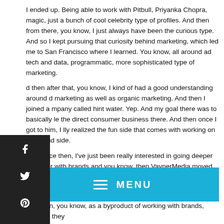I ended up. Being able to work with Pitbull, Priyanka Chopra, magic, just a bunch of cool celebrity type of profiles. And then from there, you know, I just always have been the curious type. And so I kept pursuing that curiosity behind marketing, which led me to San Francisco where I learned. You know, all around ad tech and data, programmatic, more sophisticated type of marketing.
d then after that, you know, I kind of had a good understanding around d marketing as well as organic marketing. And then I joined a mpany called hint water. Yep. And my goal there was to basically le the direct consumer business there. And then once I got to him, I lly realized the fun side that comes with working on the brand side.
d so since then, I've just been really interested in going deeper and eper with brands and you know, then VaynerMedia moved me out to New York last year. And since then it's, I mean, New York is like a playground for brands, so. It's just, you know, for me it's been a lot of
[Figure (other): Social media sharing sidebar with icons for Facebook, Twitter, Pinterest, and Telegram on a dark background]
[Figure (other): Blue menu bar with hamburger icon and MENU text]
And then, you know, as a byproduct of working with brands, whether they